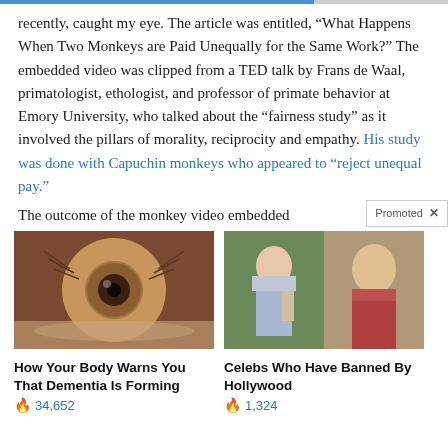recently, caught my eye. The article was entitled, “What Happens When Two Monkeys are Paid Unequally for the Same Work?” The embedded video was clipped from a TED talk by Frans de Waal, primatologist, ethologist, and professor of primate behavior at Emory University, who talked about the “fairness study” as it involved the pillars of morality, reciprocity and empathy. His study was done with Capuchin monkeys who appeared to “reject unequal pay.”
The outcome of the monkey video embedded
Promoted ×
[Figure (photo): Close-up photo of a human eye with brown iris]
[Figure (photo): Two celebrity photos side by side: woman with short hair holding books outdoors and blonde woman in red top]
How Your Body Warns You That Dementia Is Forming
🔥 34,652
Celebs Who Have Banned By Hollywood
🔥 1,324